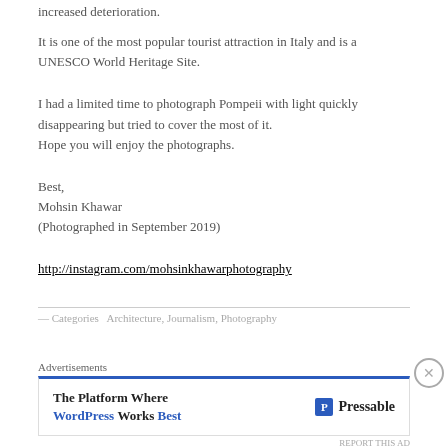increased deterioration.
It is one of the most popular tourist attraction in Italy and is a UNESCO World Heritage Site.
I had a limited time to photograph Pompeii with light quickly disappearing but tried to cover the most of it.
Hope you will enjoy the photographs.
Best,
Mohsin Khawar
(Photographed in September 2019)
http://instagram.com/mohsinkhawarphotography
— Categories   Architecture, Journalism, Photography
Advertisements
The Platform Where WordPress Works Best — Pressable